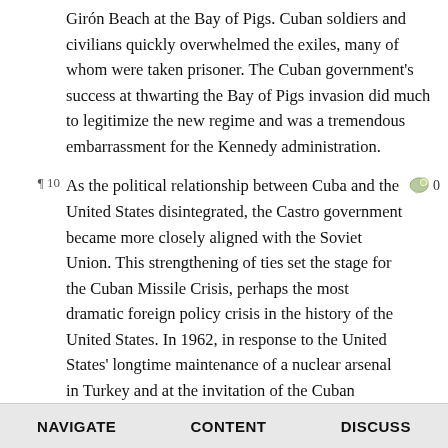Girón Beach at the Bay of Pigs. Cuban soldiers and civilians quickly overwhelmed the exiles, many of whom were taken prisoner. The Cuban government's success at thwarting the Bay of Pigs invasion did much to legitimize the new regime and was a tremendous embarrassment for the Kennedy administration.
As the political relationship between Cuba and the United States disintegrated, the Castro government became more closely aligned with the Soviet Union. This strengthening of ties set the stage for the Cuban Missile Crisis, perhaps the most dramatic foreign policy crisis in the history of the United States. In 1962, in response to the United States' longtime maintenance of a nuclear arsenal in Turkey and at the invitation of the Cuban government, the Soviet Union deployed nuclear missiles in Cuba. On October 14, 1962, American spy planes detected the construction of missile launch sites, and on October 22, President Kennedy addressed the American people to alert them to this threat. Over the course of the next several days, the world watched in horror as the United States and the Soviet Union hovered on the brink of nuclear war. Finally, on October 28, the Soviet Union agreed to
NAVIGATE   CONTENT   DISCUSS